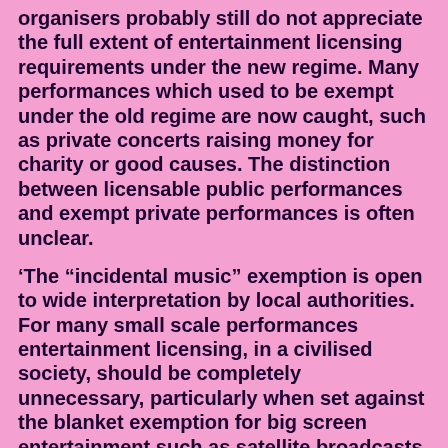organisers probably still do not appreciate the full extent of entertainment licensing requirements under the new regime. Many performances which used to be exempt under the old regime are now caught, such as private concerts raising money for charity or good causes. The distinction between licensable public performances and exempt private performances is often unclear.
‘The “incidental music” exemption is open to wide interpretation by local authorities. For many small scale performances entertainment licensing, in a civilised society, should be completely unnecessary, particularly when set against the blanket exemption for big screen entertainment such as satellite broadcasts of football matches in pubs’.
DCMS has proposed draft changes to the statutory licensing guidance that accompanies the act which, if approved, would become law sometime this summer. This does not satisfy Simon Mahigan, however: